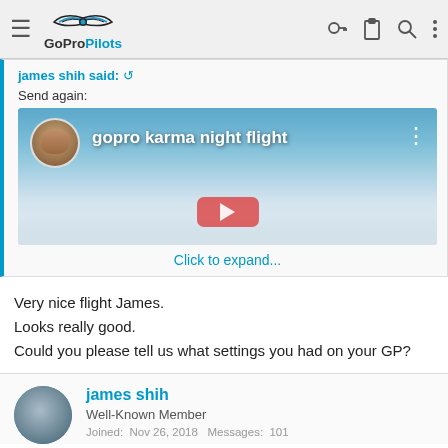GoProPilots navigation bar
james shih said: ↺
Send again:
[Figure (screenshot): Embedded video thumbnail for 'gopro karma night flight' showing a sky/cloud background with a user avatar and video title overlay, and a red play button.]
Click to expand...
Very nice flight James.
Looks really good.
Could you please tell us what settings you had on your GP?
james shih
Well-Known Member
Joined: Nov 26, 2018  Messages: 101